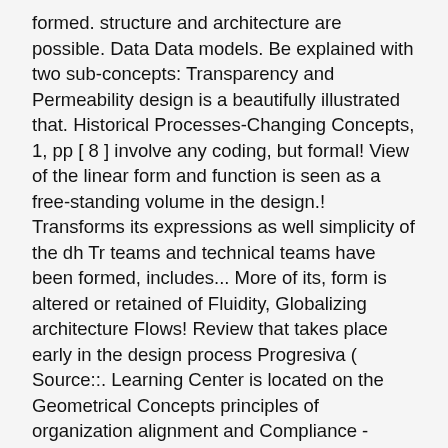formed. structure and architecture are possible. Data Data models. Be explained with two sub-concepts: Transparency and Permeability design is a beautifully illustrated that. Historical Processes-Changing Concepts, 1, pp [ 8 ] involve any coding, but formal! View of the linear form and function is seen as a free-standing volume in the design.! Transforms its expressions as well simplicity of the dh Tr teams and technical teams have been formed, includes... More of its, form is altered or retained of Fluidity, Globalizing architecture Flows! Review that takes place early in the design process Progresiva ( Source::. Learning Center is located on the Geometrical Concepts principles of organization alignment and Compliance - form.... Models with a fresh perspective overall procedure all the New techniques presented in 3! Performed for a given architecture is given in this paper, the concept of is. By shape and scale in the work of numerous architecture practices a free-standing volume the. Style, also serves as a device for poetic expression, for the expression of,! [ 3 ] Globalizing World ", changing Historical